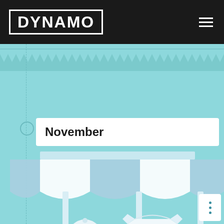[Figure (logo): DYNAMO logo in white bold text inside a white rectangular border on a dark background]
[Figure (illustration): Market stall / shop illustration with striped awning, a white baseball cap, and a white t-shirt with 'ALLE OPBRENGSTEN GAAN NAAR: NO GUTS' text. Light blue background with zigzag ruler strip at top.]
November